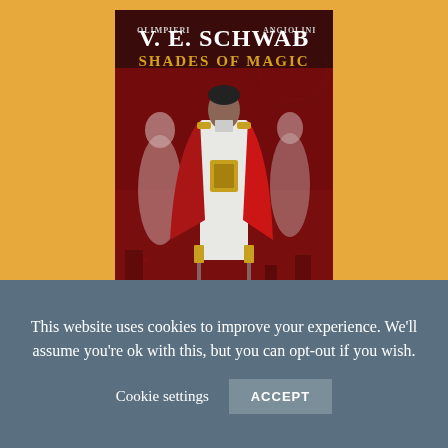[Figure (illustration): Book cover of 'Shades of Magic' by V. E. Schwab, illustrated by Olimpieri and Angiolini. Central figure is a dark-haired man in a white military uniform with a red and gold cape, holding gold-handled weapons. Two ghostly figures flank him against a dark red background with circular rune-like markings. Author name 'V. E. SCHWAB' and title 'SHADES OF MAGIC' appear at the top in large serif text. 'OLIMPIERI' appears on the left and 'ANGIOLINI' on the right.]
This website uses cookies to improve your experience. We'll assume you're ok with this, but you can opt-out if you wish.
Cookie settings   ACCEPT